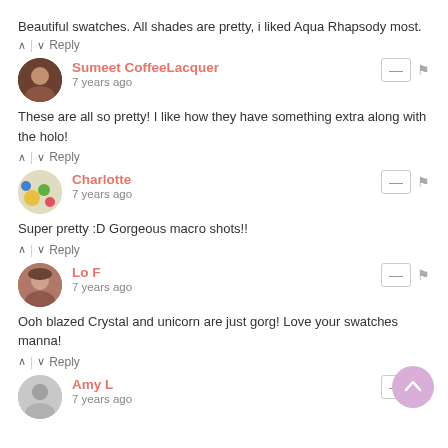Beautiful swatches. All shades are pretty, i liked Aqua Rhapsody most.
^ | v  Reply
Sumeet CoffeeLacquer
7 years ago
These are all so pretty! I like how they have something extra along with the holo!
^ | v  Reply
Charlotte
7 years ago
Super pretty :D Gorgeous macro shots!!
^ | v  Reply
Lo F
7 years ago
Ooh blazed Crystal and unicorn are just gorg! Love your swatches manna!
^ | v  Reply
Amy L
7 years ago